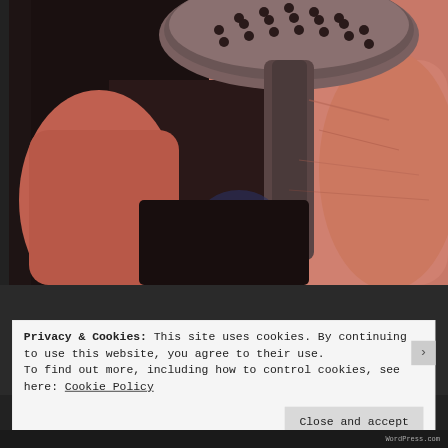[Figure (photo): Close-up photo of a person's hands holding a metal strainer or cocktail strainer with perforated holes, against a dark background. The skin tones are pink/flesh-colored and the strainer is metallic silver/chrome.]
Privacy & Cookies: This site uses cookies. By continuing to use this website, you agree to their use.
To find out more, including how to control cookies, see here: Cookie Policy